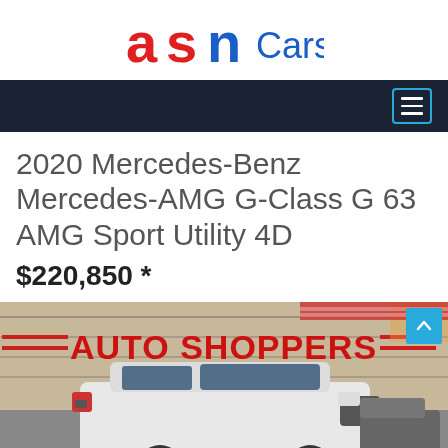[Figure (logo): ASN Cars logo with red stylized 'as' letters and blue 'n' letter, followed by blue 'Cars' text]
[Figure (screenshot): Dark navy navigation bar with a hamburger menu icon bordered in cyan on the right side]
2020 Mercedes-Benz Mercedes-AMG G-Class G 63 AMG Sport Utility 4D
$220,850 *
[Figure (photo): Photo of a white 2020 Mercedes-Benz AMG G63 SUV parked in front of an Auto Shoppers dealership sign with red lettering]